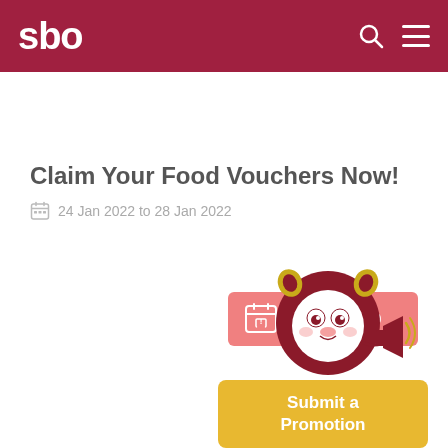sbo
Claim Your Food Vouchers Now!
24 Jan 2022 to 28 Jan 2022
[Figure (other): EXPIRED button with calendar icon in salmon/pink color]
[Figure (illustration): Lion mascot character holding a megaphone, with a Submit a Promotion yellow button below]